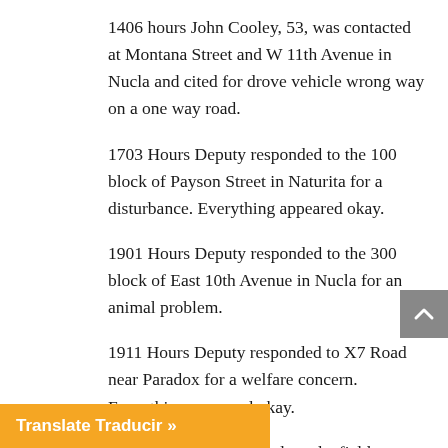1406 hours John Cooley, 53, was contacted at Montana Street and W 11th Avenue in Nucla and cited for drove vehicle wrong way on a one way road.
1703 Hours Deputy responded to the 100 block of Payson Street in Naturita for a disturbance. Everything appeared okay.
1901 Hours Deputy responded to the 300 block of East 10th Avenue in Nucla for an animal problem.
1911 Hours Deputy responded to X7 Road near Paradox for a welfare concern. Everything appeared okay.
2100 Hours Deputy conducted a field interview on Highway 90 MM5 near Paradox.
2204 Hours Deputy took an information report at the